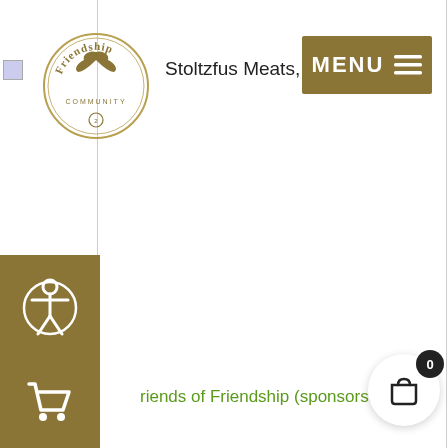[Figure (logo): Friendship Community circular logo with bird and text]
Stoltzfus Meats, Inc.
[Figure (other): Gold MENU button with hamburger icon]
[Figure (other): Gold accessibility icon button]
[Figure (other): Gold shopping cart button]
riends of Friendship (sponsorship le
[Figure (other): White circular cart badge with count 0 and basket icon]